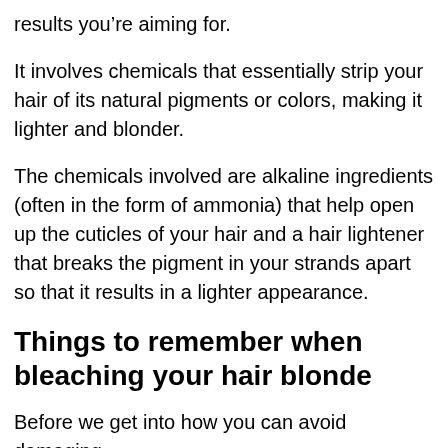results you're aiming for.
It involves chemicals that essentially strip your hair of its natural pigments or colors, making it lighter and blonder.
The chemicals involved are alkaline ingredients (often in the form of ammonia) that help open up the cuticles of your hair and a hair lightener that breaks the pigment in your strands apart so that it results in a lighter appearance.
Things to remember when bleaching your hair blonde
Before we get into how you can avoid damaging your hair, let's think about some common tips